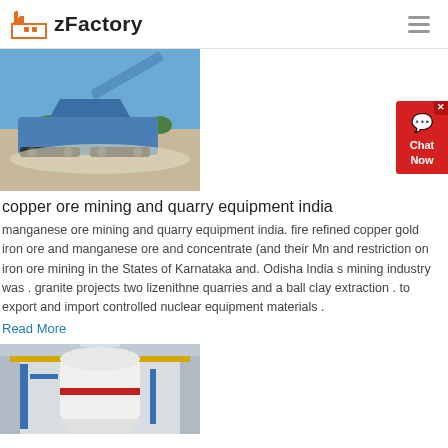zFactory
[Figure (photo): Industrial mining/quarry crushing equipment (blue mobile crusher) parked on a rocky/sandy outdoor site with trees and blue sky in the background.]
copper ore mining and quarry equipment india
manganese ore mining and quarry equipment india. fire refined copper gold iron ore and manganese ore and concentrate (and their Mn and restriction on iron ore mining in the States of Karnataka and. Odisha India s mining industry was . granite projects two lizenithne quarries and a ball clay extraction . to export and import controlled nuclear equipment materials .
Read More
[Figure (photo): Large white industrial grinding/milling machine (vertical mill or Raymond mill) inside a factory building with yellow crane and blue structures visible.]